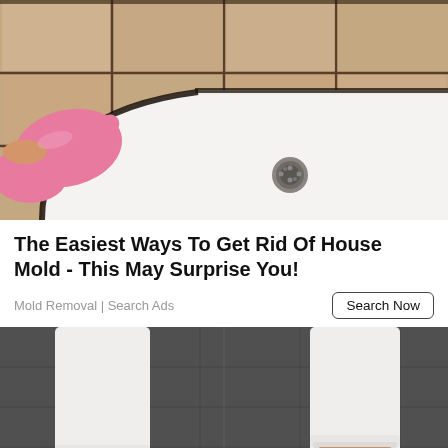[Figure (photo): A person wearing pink rubber cleaning gloves pointing at the edge of a white shower tray/bathtub in a corner, with beige tiles and black mold visible along the grout lines and edges.]
The Easiest Ways To Get Rid Of House Mold - This May Surprise You!
Mold Removal | Search Ads
[Figure (photo): A person wearing white jeans and white sneakers/espadrilles with gold detailing, standing on a dark textured surface, shown from the knees down.]